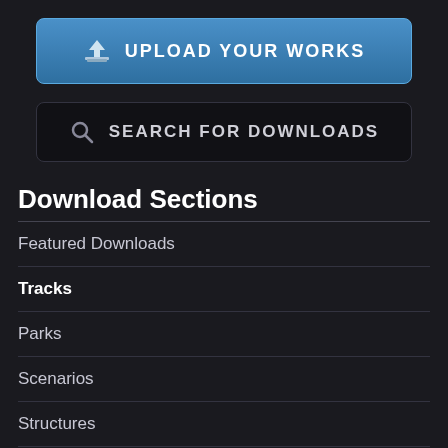[Figure (other): Upload Your Works button with upload arrow icon, blue gradient background]
[Figure (other): Search For Downloads bar with magnifying glass icon, dark background]
Download Sections
Featured Downloads
Tracks
Parks
Scenarios
Structures
Pyro
Peeps